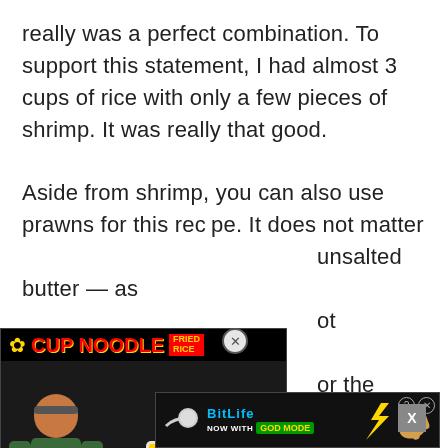really was a perfect combination. To support this statement, I had almost 3 cups of rice with only a few pieces of shrimp. It was really that good.
Aside from shrimp, you can also use prawns for this recipe. It does not matter [ad overlay] unsalted butter — as [ad overlay] ot margarine or [ad overlay] or the banana ketchup, feel free to use your favorite bran[ad] b. I ufr[cut off] mes
[Figure (screenshot): Ad overlay: Cup Noodle Fried Rice advertisement showing a man with a plate of cup noodle and sausages on a dark plate, with red/yellow branding.]
[Figure (screenshot): Ad overlay: BitLife 'Now with GOD MODE' advertisement on dark background with cartoon hand pointing graphic.]